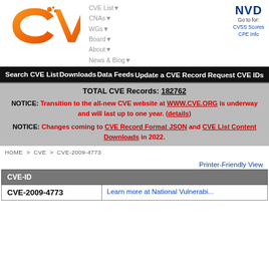[Figure (logo): CVE logo in orange gradient]
CVE List▼
CNAs▼
WGs▼
Board▼
About▼
News & Blog▼
NVD
Go to for:
CVSS Scores
CPE Info
Search CVE List    Downloads    Data Feeds
Update a CVE Record    Request CVE IDs
TOTAL CVE Records: 182762
NOTICE: Transition to the all-new CVE website at WWW.CVE.ORG is underway and will last up to one year. (details)
NOTICE: Changes coming to CVE Record Format JSON and CVE List Content Downloads in 2022.
HOME > CVE > CVE-2009-4773
Printer-Friendly View
| CVE-ID |  |
| --- | --- |
| CVE-2009-4773 | Learn more at National Vulnerabi... |